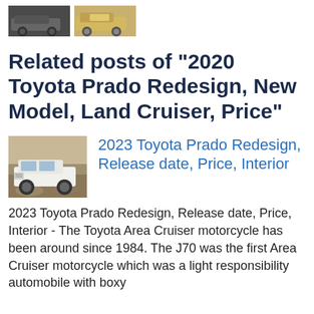[Figure (photo): Two small thumbnail images of Toyota vehicles at the top of the page]
Related posts of "2020 Toyota Prado Redesign, New Model, Land Cruiser, Price"
[Figure (photo): Thumbnail photo of a white Toyota Prado SUV on rocky terrain]
2023 Toyota Prado Redesign, Release date, Price, Interior
2023 Toyota Prado Redesign, Release date, Price, Interior - The Toyota Area Cruiser motorcycle has been around since 1984. The J70 was the first Area Cruiser motorcycle which was a light responsibility automobile with boxy